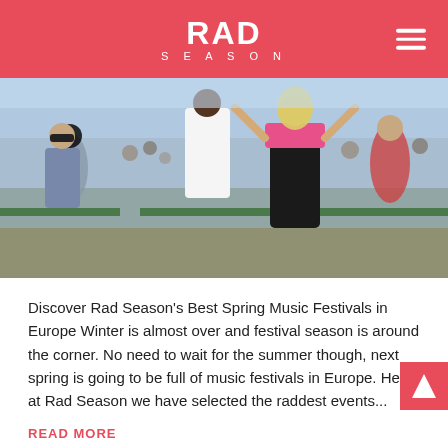RAD SEASON
[Figure (photo): Outdoor festival crowd with people dancing and celebrating, woman in pink bikini top with arms raised in foreground]
Discover Rad Season's Best Spring Music Festivals in Europe Winter is almost over and festival season is around the corner. No need to wait for the summer though, next spring is going to be full of music festivals in Europe. Here at Rad Season we have selected the raddest events...
READ MORE
THE ULTIMATE GUIDE FOR